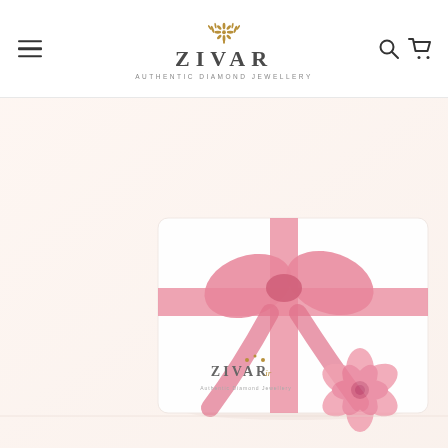ZIVAR — Authentic Diamond Jewellery — navigation header with hamburger menu, logo, search and cart icons
[Figure (photo): A white gift box tied with a pink satin ribbon bow, with the ZIVAR.ir logo on the front, placed next to a pink rose on a soft cream background]